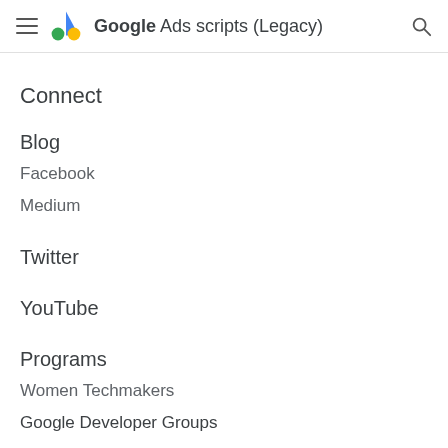Google Ads scripts (Legacy)
Connect
Blog
Facebook
Medium
Twitter
YouTube
Programs
Women Techmakers
Google Developer Groups